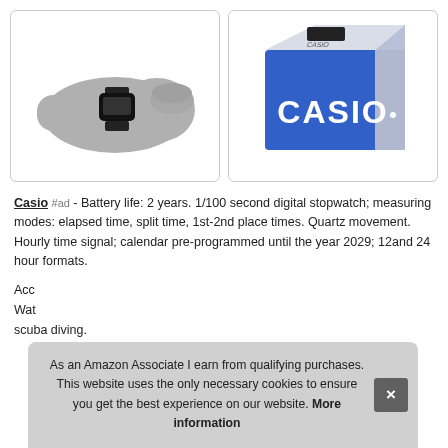[Figure (photo): A wrist wearing a small black Casio digital watch, shown from the side on a white background.]
[Figure (photo): A blue and white Casio product box with the CASIO logo on the front in large white letters.]
Casio #ad - Battery life: 2 years. 1/100 second digital stopwatch; measuring modes: elapsed time, split time, 1st-2nd place times. Quartz movement. Hourly time signal; calendar pre-programmed until the year 2029; 12and 24 hour formats.
Acc
Wat
scuba diving.
As an Amazon Associate I earn from qualifying purchases. This website uses the only necessary cookies to ensure you get the best experience on our website. More information